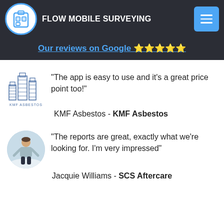FLOW MOBILE SURVEYING
Our reviews on Google ⭐⭐⭐⭐⭐
"The app is easy to use and it's a great price point too!"
KMF Asbestos - KMF Asbestos
"The reports are great, exactly what we're looking for. I'm very impressed"
Jacquie Williams - SCS Aftercare